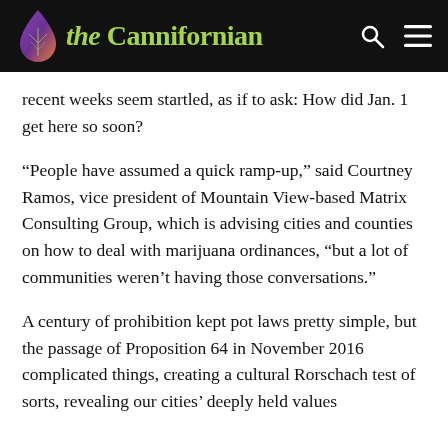the Cannifornian
recent weeks seem startled, as if to ask: How did Jan. 1 get here so soon?
“People have assumed a quick ramp-up,” said Courtney Ramos, vice president of Mountain View-based Matrix Consulting Group, which is advising cities and counties on how to deal with marijuana ordinances, “but a lot of communities weren’t having those conversations.”
A century of prohibition kept pot laws pretty simple, but the passage of Proposition 64 in November 2016 complicated things, creating a cultural Rorschach test of sorts, revealing our cities’ deeply held values